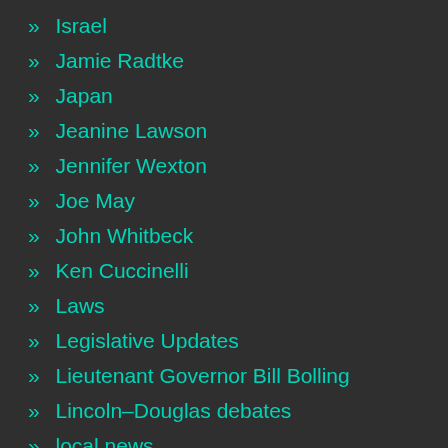» Israel
» Jamie Radtke
» Japan
» Jeanine Lawson
» Jennifer Wexton
» Joe May
» John Whitbeck
» Ken Cuccinelli
» Laws
» Legislative Updates
» Lieutenant Governor Bill Bolling
» Lincoln–Douglas debates
» local news
» Mark Herring